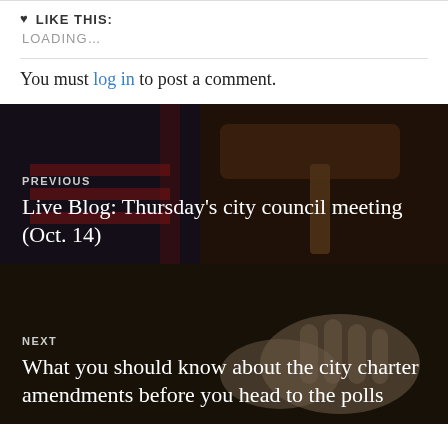♥ LIKE THIS:
LOADING...
You must log in to post a comment.
[Figure (photo): Dark background photo of a wooden gavel with American flag, used as background for Previous navigation block]
PREVIOUS
Live Blog: Thursday's city council meeting (Oct. 14)
[Figure (photo): Dark background photo of hands near a ballot or voting device, used as background for Next navigation block]
NEXT
What you should know about the city charter amendments before you head to the polls